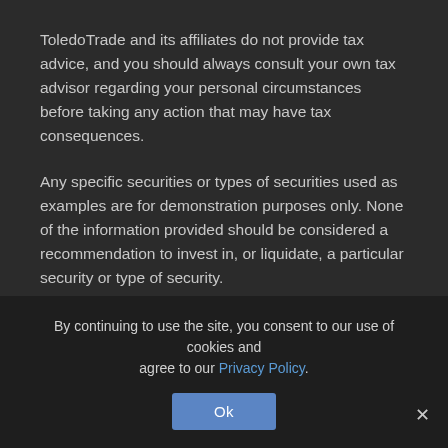ToledoTrade and its affiliates do not provide tax advice, and you should always consult your own tax advisor regarding your personal circumstances before taking any action that may have tax consequences.
Any specific securities or types of securities used as examples are for demonstration purposes only. None of the information provided should be considered a recommendation to invest in, or liquidate, a particular security or type of security.
Brokerage Products: Not FDIC Insured • No Bank Guarantee • May Lose Value. The SIPC provides brokerage account protection.
ToledoTrade is a division of Gar Wood Securities, LLC. Brokerage
By continuing to use the site, you consent to our use of cookies and agree to our Privacy Policy.
Ok